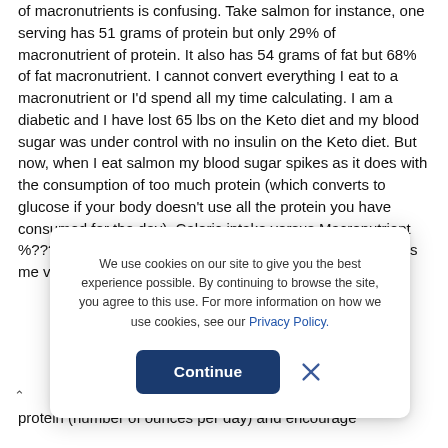of macronutrients is confusing. Take salmon for instance, one serving has 51 grams of protein but only 29% of macronutrient of protein. It also has 54 grams of fat but 68% of fat macronutrient. I cannot convert everything I eat to a macronutrient or I'd spend all my time calculating. I am a diabetic and I have lost 65 lbs on the Keto diet and my blood sugar was under control with no insulin on the Keto diet. But now, when I eat salmon my blood sugar spikes as it does with the consumption of too much protein (which converts to glucose if your body doesn't use all the protein you have consumed for the day). Caloric intake versus Macronutrient %??? I need to adjust with the weight loss but this issue has me very cc
We use cookies on our site to give you the best experience possible. By continuing to browse the site, you agree to this use. For more information on how we use cookies, see our Privacy Policy.
protein (number of ounces per day) and encourage